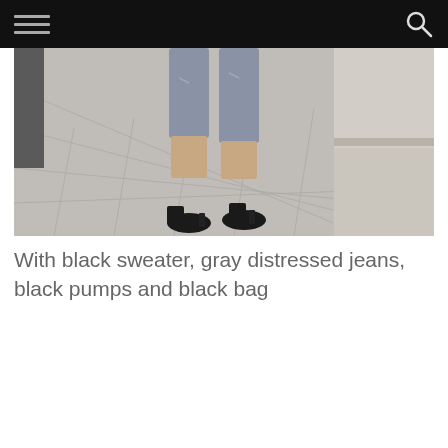[Figure (photo): Close-up photo from waist down of a person wearing gray distressed jeans and black pointed-toe pumps, walking on a stone tile pavement sidewalk. A stone wall/railing is visible on the right side of the image.]
With black sweater, gray distressed jeans, black pumps and black bag